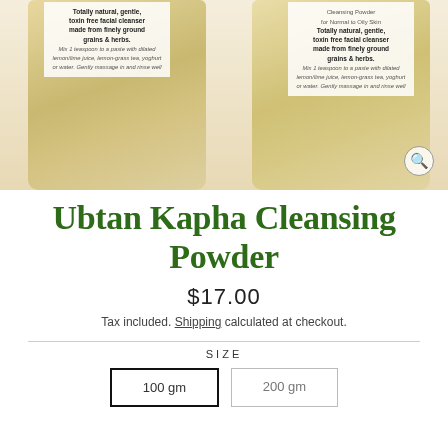[Figure (photo): Two bottles of Ubtan Kapha Cleansing Powder product with labels showing text about natural facial cleanser made from finely ground grains and herbs, with usage instructions in italic text. A magnifying glass icon appears in the bottom-right corner of the image.]
Ubtan Kapha Cleansing Powder
$17.00
Tax included. Shipping calculated at checkout.
SIZE
100 gm
200 gm